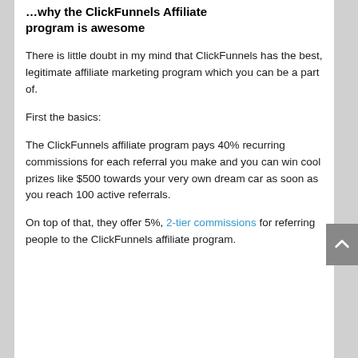…why the ClickFunnels Affiliate program is awesome
There is little doubt in my mind that ClickFunnels has the best, legitimate affiliate marketing program which you can be a part of.
First the basics:
The ClickFunnels affiliate program pays 40% recurring commissions for each referral you make and you can win cool prizes like $500 towards your very own dream car as soon as you reach 100 active referrals.
On top of that, they offer 5%, 2-tier commissions for referring people to the ClickFunnels affiliate program.